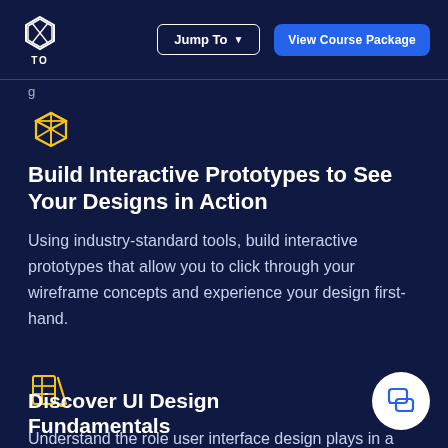TO | Jump To ▼ | View Course Package
g
[Figure (illustration): Yellow 3D box/cube icon]
Build Interactive Prototypes to See Your Designs in Action
Using industry-standard tools, build interactive prototypes that allow you to click through your wireframe concepts and experience your design first-hand.
[Figure (illustration): Yellow palette/color swatch icon]
Discover UI Design Fundamentals
Understand the role user interface design plays in a